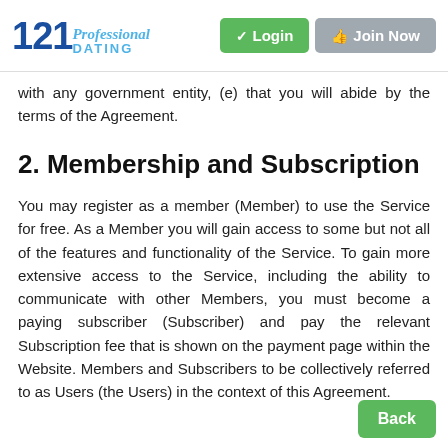121 Professional Dating — Login | Join Now
with any government entity, (e) that you will abide by the terms of the Agreement.
2. Membership and Subscription
You may register as a member (Member) to use the Service for free. As a Member you will gain access to some but not all of the features and functionality of the Service. To gain more extensive access to the Service, including the ability to communicate with other Members, you must become a paying subscriber (Subscriber) and pay the relevant Subscription fee that is shown on the payment page within the Website. Members and Subscribers to be collectively referred to as Users (the Users) in the context of this Agreement.